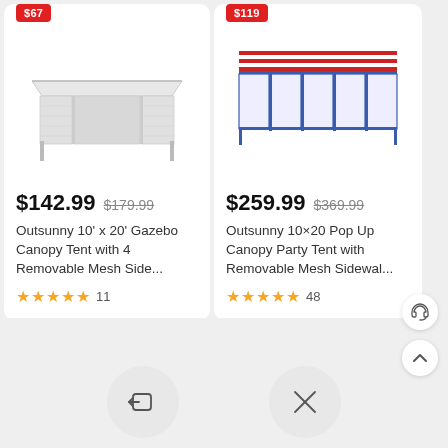[Figure (screenshot): E-commerce product listing page showing two gazebo/canopy tent products side by side. Left product: white gazebo tent image with sale badge '$67' (partially visible), priced at $142.99 (was $179.99), titled 'Outsunny 10' x 20' Gazebo Canopy Tent with 4 Removable Mesh Side...', 5-star rating with 11 reviews. Right product: American flag pattern pop-up canopy tent with sale badge '$119' (partially visible), priced at $259.99 (was $369.99), titled 'Outsunny 10×20 Pop Up Canopy Party Tent with Removable Mesh Sidewal...', 5-star rating with 48 reviews. Bottom area shows navigation icons including a back arrow in a circle and a headset/chat icon and up arrow button.]